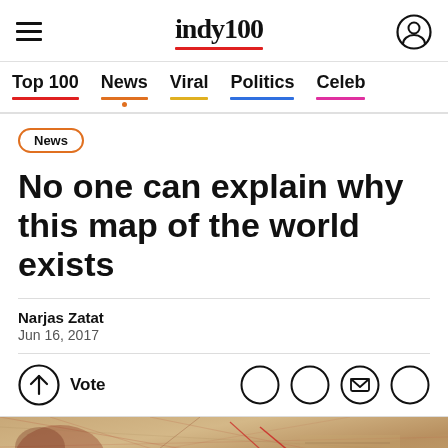indy100
Top 100 | News | Viral | Politics | Celeb
News
No one can explain why this map of the world exists
Narjas Zatat
Jun 16, 2017
Vote
[Figure (photo): Ancient/historical map showing navigational lines and old cartographic illustration with red markings]